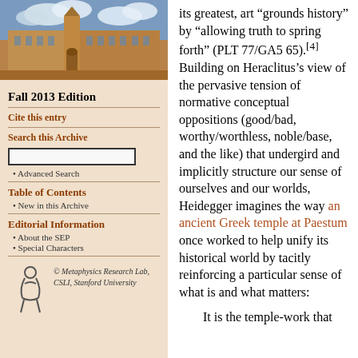[Figure (photo): Photograph of a historic university building (likely University of Sydney) with Gothic architecture and a cloudy sky]
Fall 2013 Edition
Cite this entry
Search this Archive
Advanced Search
Table of Contents
New in this Archive
Editorial Information
About the SEP
Special Characters
[Figure (logo): Metaphysics Research Lab, CSLI, Stanford University logo with stylized figure]
its greatest, art “grounds history” by “allowing truth to spring forth” (PLT 77/GA5 65). [4] Building on Heraclitus’s view of the pervasive tension of normative conceptual oppositions (good/bad, worthy/worthless, noble/base, and the like) that undergird and implicitly structure our sense of ourselves and our worlds, Heidegger imagines the way an ancient Greek temple at Paestum once worked to help unify its historical world by tacitly reinforcing a particular sense of what is and what matters:
It is the temple-work that